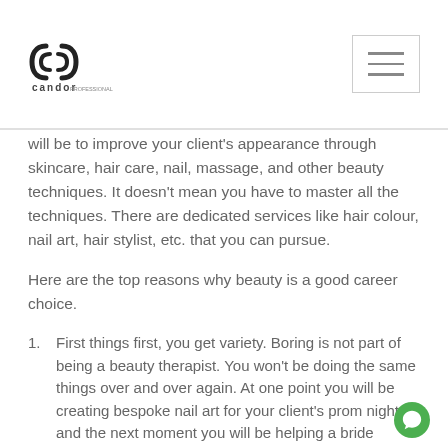Candor logo and navigation menu
will be to improve your client's appearance through skincare, hair care, nail, massage, and other beauty techniques. It doesn't mean you have to master all the techniques. There are dedicated services like hair colour, nail art, hair stylist, etc. that you can pursue.
Here are the top reasons why beauty is a good career choice.
First things first, you get variety. Boring is not part of being a beauty therapist. You won't be doing the same things over and over again. At one point you will be creating bespoke nail art for your client's prom night, and the next moment you will be helping a bride design her makeup for the big day. The higher the skills you have, the more variety you can explore.
You may not know but beauticians play a significant role in encouraging people to feel comfortable in their own skin. Your little words and some beauty tips can